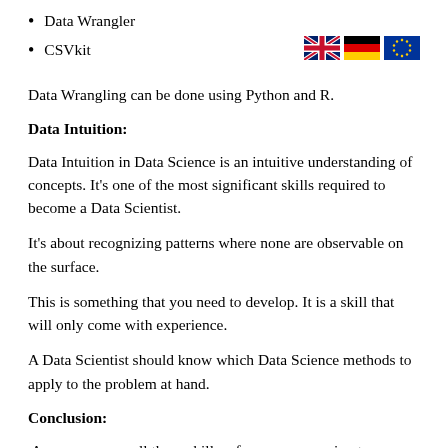Data Wrangler
CSVkit
[Figure (illustration): Three country flags: UK (Union Jack), Germany (black-red-yellow), and EU (blue with yellow stars)]
Data Wrangling can be done using Python and R.
Data Intuition:
Data Intuition in Data Science is an intuitive understanding of concepts. It's one of the most significant skills required to become a Data Scientist.
It's about recognizing patterns where none are observable on the surface.
This is something that you need to develop. It is a skill that will only come with experience.
A Data Scientist should know which Data Science methods to apply to the problem at hand.
Conclusion:
As you can see, all these skills – from programming to algorithmic methods, work with one another to build on top of